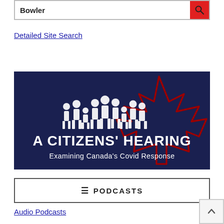Bowler
Detailed Site Search
[Figure (illustration): A Citizens' Hearing — Examining Canada's Covid Response. Dark navy blue banner with white silhouette figures of people and a red maple leaf outline on the right side.]
≡ PODCASTS
Audio Podcasts